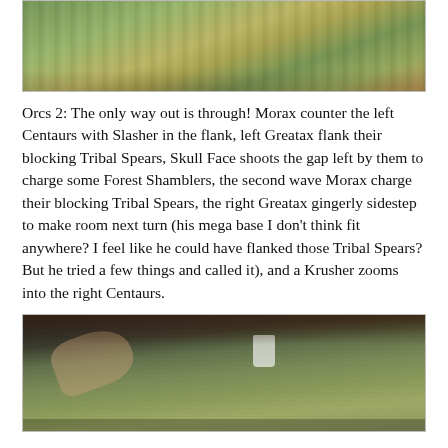[Figure (photo): Top portion of a tabletop wargame battlefield showing miniatures on a green mat with terrain features, partially cropped at top.]
Orcs 2: The only way out is through! Morax counter the left Centaurs with Slasher in the flank, left Greatax flank their blocking Tribal Spears, Skull Face shoots the gap left by them to charge some Forest Shamblers, the second wave Morax charge their blocking Tribal Spears, the right Greatax gingerly sidestep to make room next turn (his mega base I don’t think fit anywhere? I feel like he could have flanked those Tribal Spears? But he tried a few things and called it), and a Krusher zooms into the right Centaurs.
[Figure (photo): Tabletop wargame in progress with miniatures on a green gaming mat, a person's hand visible, dice, cups, and army lists on a decorative brown tablecloth.]